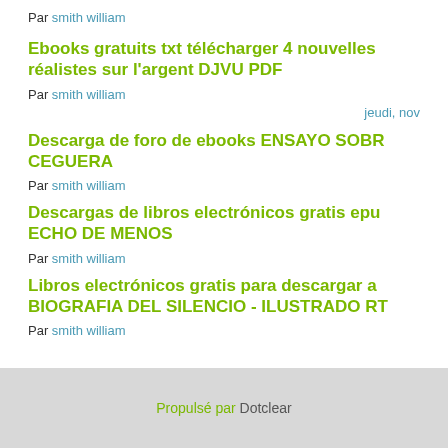Par smith william
Ebooks gratuits txt télécharger 4 nouvelles réalistes sur l'argent DJVU PDF
Par smith william
jeudi, nov
Descarga de foro de ebooks ENSAYO SOBR CEGUERA
Par smith william
Descargas de libros electrónicos gratis epu ECHO DE MENOS
Par smith william
Libros electrónicos gratis para descargar a BIOGRAFIA DEL SILENCIO - ILUSTRADO RT
Par smith william
Propulsé par Dotclear